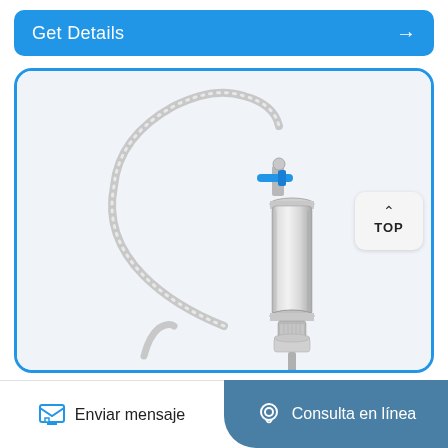Get Details →
[Figure (photo): Laboratory or industrial stainless steel cylindrical filter/pump device with a curved flexible tube arching overhead and a blue valve handle, mounted vertically on a base fitting]
TOP
Enviar mensaje
Consulta en línea